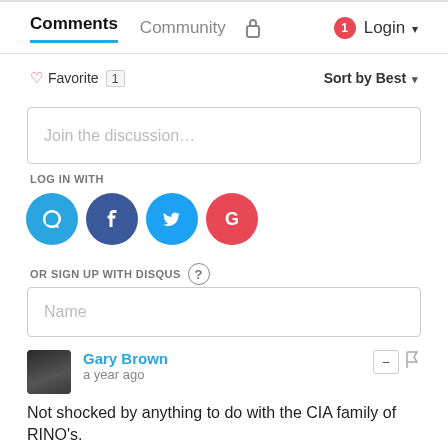Comments  Community  🔒  1  Login
♡ Favorite 1    Sort by Best
Join the discussion...
LOG IN WITH
[Figure (logo): Social login icons: Disqus (D), Facebook (f), Twitter (bird), Google (G)]
OR SIGN UP WITH DISQUS ?
Name
Gary Brown
a year ago
Not shocked by anything to do with the CIA family of RINO's.
July 1, 2020 Former George W. Bush Administration Officials Form Super PAC Backing Joe Biden